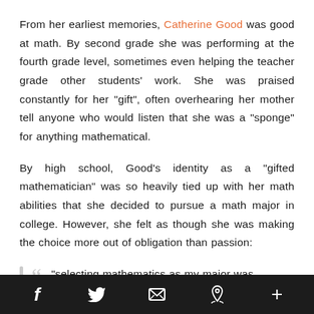From her earliest memories, Catherine Good was good at math. By second grade she was performing at the fourth grade level, sometimes even helping the teacher grade other students' work. She was praised constantly for her "gift", often overhearing her mother tell anyone who would listen that she was a "sponge" for anything mathematical.
By high school, Good's identity as a "gifted mathematician" was so heavily tied up with her math abilities that she decided to pursue a math major in college. However, she felt as though she was making the choice more out of obligation than passion:
"selecting mathematics as my major was
f  [twitter]  [email]  [pinterest]  +